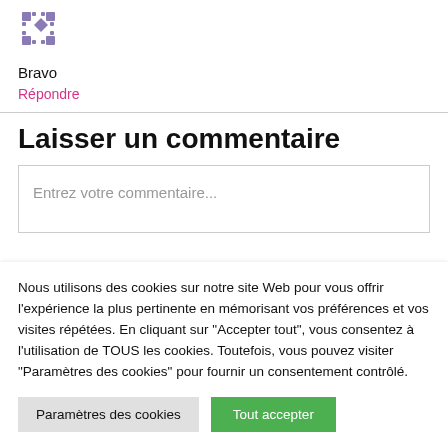[Figure (logo): Purple/grey diamond pattern logo icon]
Bravo
Répondre
Laisser un commentaire
Entrez votre commentaire...
Nous utilisons des cookies sur notre site Web pour vous offrir l'expérience la plus pertinente en mémorisant vos préférences et vos visites répétées. En cliquant sur "Accepter tout", vous consentez à l'utilisation de TOUS les cookies. Toutefois, vous pouvez visiter "Paramètres des cookies" pour fournir un consentement contrôlé.
Paramètres des cookies
Tout accepter